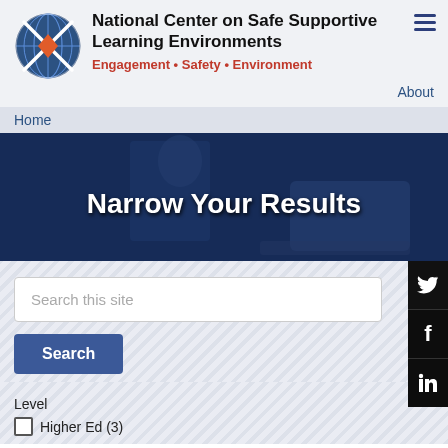National Center on Safe Supportive Learning Environments
Engagement • Safety • Environment
About
Home
[Figure (screenshot): Hero banner with child at laptop and text 'Narrow Your Results']
Search this site
Search
Level
Higher Ed (3)